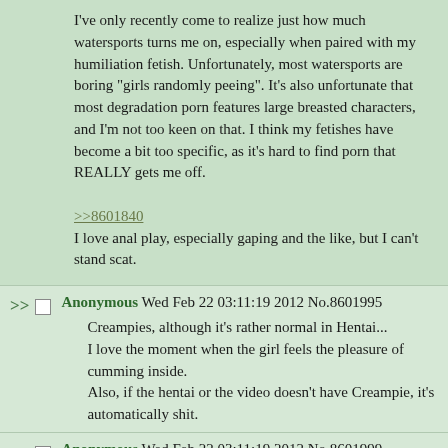I've only recently come to realize just how much watersports turns me on, especially when paired with my humiliation fetish. Unfortunately, most watersports are boring "girls randomly peeing". It's also unfortunate that most degradation porn features large breasted characters, and I'm not too keen on that. I think my fetishes have become a bit too specific, as it's hard to find porn that REALLY gets me off.

>>8601840
I love anal play, especially gaping and the like, but I can't stand scat.
Anonymous Wed Feb 22 03:11:19 2012 No.8601995

Creampies, although it's rather normal in Hentai... I love the moment when the girl feels the pleasure of cumming inside.
Also, if the hentai or the video doesn't have Creampie, it's automatically shit.
Anonymous Wed Feb 22 03:11:19 2012 No.8601999